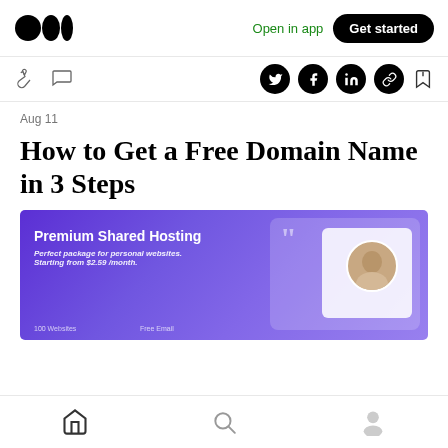Medium — Open in app | Get started
Aug 11
How to Get a Free Domain Name in 3 Steps
[Figure (screenshot): Purple/indigo banner for Premium Shared Hosting. Text reads: 'Premium Shared Hosting', 'Perfect package for personal websites.', 'Starting from $2.59 /month.' with a decorative card and avatar on the right side.]
Home | Search | Profile